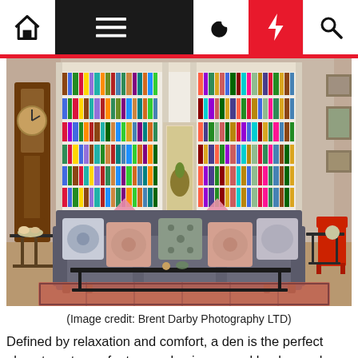Navigation bar with home, menu, moon, lightning, and search icons
[Figure (photo): A cozy den/library room with a large floor-to-ceiling white bookcase filled with colorful books. A grey sofa with patterned cushions sits in the foreground on a red Persian rug. Two pink lamps flank a central doorway. A grandfather clock stands on the left. A red chair is visible on the right.]
(Image credit: Brent Darby Photography LTD)
Defined by relaxation and comfort, a den is the perfect place to put your feet up and enjoy a good book, so why not use this area to create you very